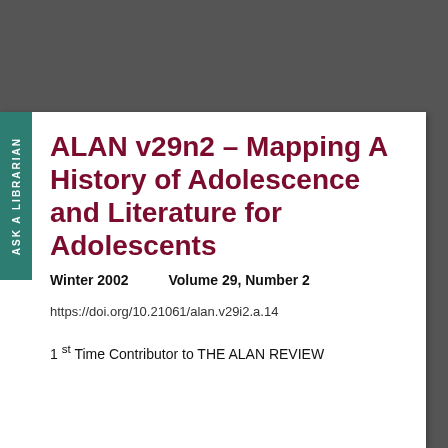ALAN v29n2 - Mapping A History of Adolescence and Literature for Adolescents
Winter 2002   Volume 29, Number 2
https://doi.org/10.21061/alan.v29i2.a.14
1st Time Contributor to THE ALAN REVIEW